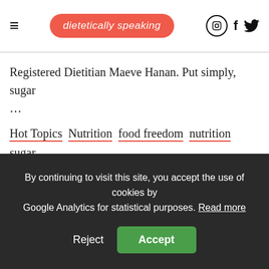dietetically speaking
Registered Dietitian Maeve Hanan. Put simply, sugar …
Hot Topics Nutrition food freedom nutrition sugar sugar addiction
[Figure (other): Red rounded rectangle banner/box at bottom of main content area]
By continuing to visit this site, you accept the use of cookies by Google Analytics for statistical purposes. Read more
Reject  Accept